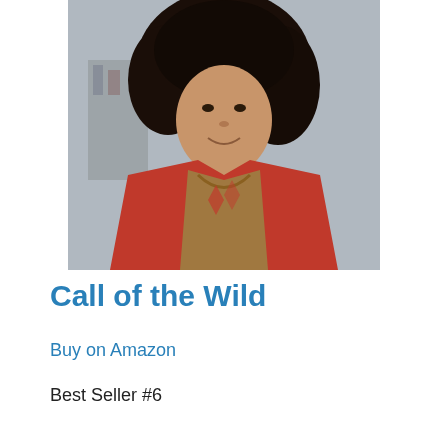[Figure (photo): A woman with curly hair wearing a red jacket with a patterned shirt underneath and a necklace, smiling, in what appears to be an indoor setting.]
Call of the Wild
Buy on Amazon
Best Seller #6